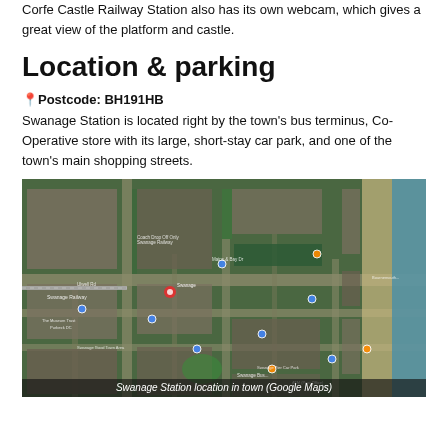Corfe Castle Railway Station also has its own webcam, which gives a great view of the platform and castle.
Location & parking
📍Postcode: BH191HB
Swanage Station is located right by the town's bus terminus, Co-Operative store with its large, short-stay car park, and one of the town's main shopping streets.
[Figure (map): Satellite/aerial Google Maps view showing Swanage Station location in town, with surrounding streets, car parks, and the seafront visible to the right.]
Swanage Station location in town (Google Maps)